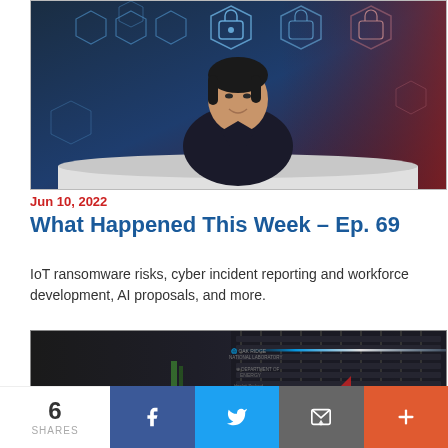[Figure (photo): Woman with short dark hair sitting at a desk in front of a digital security background with hexagonal lock icons in blue and red tones]
Jun 10, 2022
What Happened This Week – Ep. 69
IoT ransomware risks, cyber incident reporting and workforce development, AI proposals, and more.
[Figure (photo): Interior of the Frontier supercomputer at Oak Ridge National Laboratory, with server racks labeled Frontier, Oak Ridge National Laboratory, Department of Energy, and Hewlett Packard Enterprise logos visible, with blue neon lighting]
6 SHARES
Facebook share button, Twitter share button, Email share button, More share button